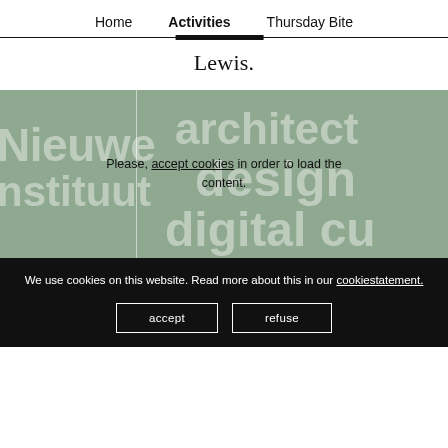Home  Activities  Thursday Bite
Lewis.
[Figure (screenshot): Hero banner with sage green background showing large white semi-transparent words: Nieuwe, instituut, architect, design, digital cu. A vertical white line divides the image. A cookie consent overlay reads: Please, accept cookies in order to load the content.]
We use cookies on this website. Read more about this in our cookiestatement.
accept   refuse